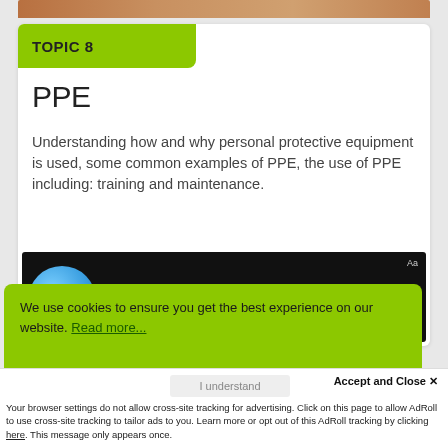[Figure (screenshot): Top portion of a website screenshot showing a person image strip at the top, cropped]
TOPIC 8
PPE
Understanding how and why personal protective equipment is used, some common examples of PPE, the use of PPE including: training and maintenance.
[Figure (screenshot): Screenshot of an e-learning module with dark background, showing a blue sphere and 'Aa' font indicator in top right]
We use cookies to ensure you get the best experience on our website. Read more...
Accept and Close ✕
Your browser settings do not allow cross-site tracking for advertising. Click on this page to allow AdRoll to use cross-site tracking to tailor ads to you. Learn more or opt out of this AdRoll tracking by clicking here. This message only appears once.